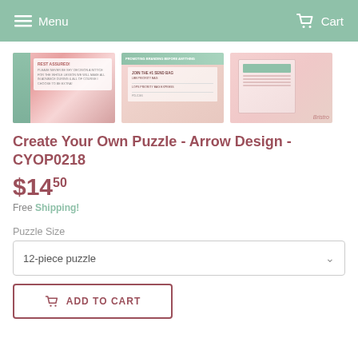Menu  Cart
[Figure (photo): Three product thumbnail images: (1) rose gold glitter design with 'REST ASSURED' text overlay, (2) coffee mug on pink background with form/checklist, (3) pink keyboard scene with clipboard/paper]
Create Your Own Puzzle - Arrow Design - CYOP0218
$14.50
Free Shipping!
Puzzle Size
12-piece puzzle
ADD TO CART